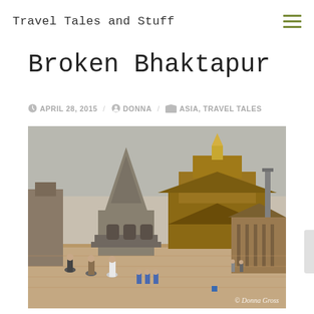Travel Tales and Stuff
Broken Bhaktapur
APRIL 28, 2015 / DONNA / ASIA, TRAVEL TALES
[Figure (photo): Photo of Bhaktapur Durbar Square in Nepal showing ancient Hindu temples with tiered roofs, a stone shikhara-style temple, and people including schoolchildren walking across the brick plaza. Copyright Donna Gross.]